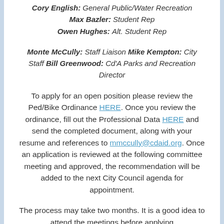Cory English: General Public/Water Recreation
Max Bazler: Student Rep
Owen Hughes: Alt. Student Rep
Monte McCully: Staff Liaison
Mike Kempton: City Staff
Bill Greenwood: Cd'A Parks and Recreation Director
To apply for an open position please review the Ped/Bike Ordinance HERE. Once you review the ordinance, fill out the Professional Data HERE and send the completed document, along with your resume and references to mmccully@cdaid.org. Once an application is reviewed at the following committee meeting and approved, the recommendation will be added to the next City Council agenda for appointment.
The process may take two months. It is a good idea to attend the meetings before applying